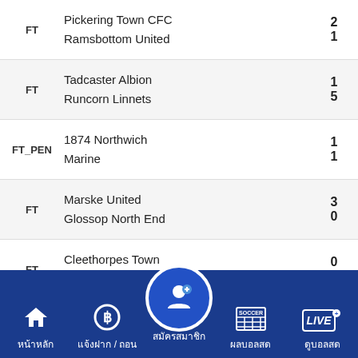FT | Pickering Town CFC 2 - Ramsbottom United 1
FT | Tadcaster Albion 1 - Runcorn Linnets 5
FT_PEN | 1874 Northwich 1 - Marine 1
FT | Marske United 3 - Glossop North End 0
FT | Cleethorpes Town 0 - Shildon AFC 2
FT_PEN | Rylands 0 - Hebburn Town 0
Hale...
[Figure (screenshot): Mobile app bottom navigation bar with Thai language labels: หน้าหลัก (Home), แจ้งฝาก/ถอน (Deposit/Withdraw), สมัครสมาชิก (Register - center highlighted), ผลบอลสด (Live Results), ดูบอลสด (Watch Live)]